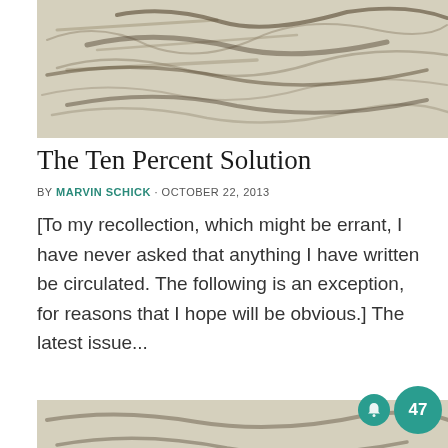[Figure (photo): Close-up photograph of old handwritten cursive script on aged paper, blurred/out of focus, beige and gray tones]
The Ten Percent Solution
BY MARVIN SCHICK · OCTOBER 22, 2013
[To my recollection, which might be errant, I have never asked that anything I have written be circulated. The following is an exception, for reasons that I hope will be obvious.] The latest issue...
[Figure (photo): Partial view of another close-up photo of old handwritten cursive script on aged paper (cropped at bottom of page)]